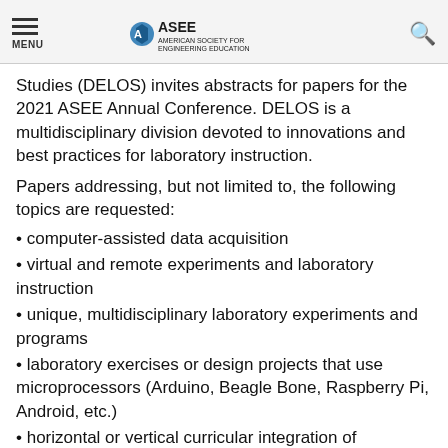MENU | ASEE AMERICAN SOCIETY FOR ENGINEERING EDUCATION
Studies (DELOS) invites abstracts for papers for the 2021 ASEE Annual Conference. DELOS is a multidisciplinary division devoted to innovations and best practices for laboratory instruction.
Papers addressing, but not limited to, the following topics are requested:
computer-assisted data acquisition
virtual and remote experiments and laboratory instruction
unique, multidisciplinary laboratory experiments and programs
laboratory exercises or design projects that use microprocessors (Arduino, Beagle Bone, Raspberry Pi, Android, etc.)
horizontal or vertical curricular integration of laboratory experiments and courses
inquiry-based laboratory exercises
integration of laboratory experiments and courses in an